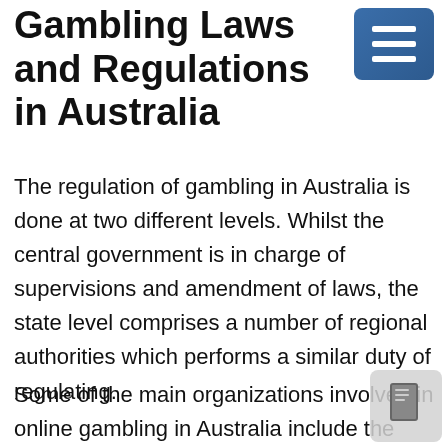Gambling Laws and Regulations in Australia
The regulation of gambling in Australia is done at two different levels. Whilst the central government is in charge of supervisions and amendment of laws, the state level comprises a number of regional authorities which performs a similar duty of regulating.
Some of the main organizations involved in online gambling in Australia include the Licensing Commission, Independent Gambling Authority, Australian Broadcasting Authority, Tasmanian Gaming Commission, and many more others. It